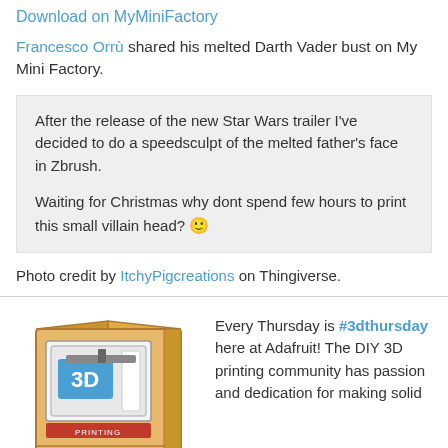Download on MyMiniFactory
Francesco Orrù shared his melted Darth Vader bust on My Mini Factory.
After the release of the new Star Wars trailer I've decided to do a speedsculpt of the melted father's face in Zbrush.

Waiting for Christmas why dont spend few hours to print this small villain head? 🙂
Photo credit by ItchyPigcreations on Thingiverse.
[Figure (illustration): Cartoon illustration of a cardboard 3D printer box with '3D PRINTING' text on it]
Every Thursday is #3dthursday here at Adafruit! The DIY 3D printing community has passion and dedication for making solid